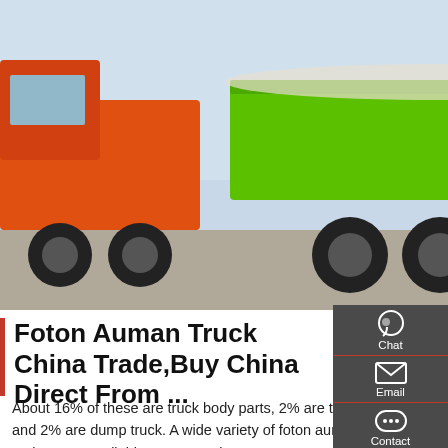[Figure (photo): Green Foton Auman dump truck parked in a lot with other trucks, trees in background, taken outdoors.]
Foton Auman Truck China Trade,Buy China Direct From ...
About 16% of these are truck body parts, 2% are tractor truck, and 2% are dump truck. A wide variety of foton auman truck options are available to you, such as ≥2500nm, 1500-2000nm. You can also choose from euro 2, euro 3. As well as from 2. And whether foton